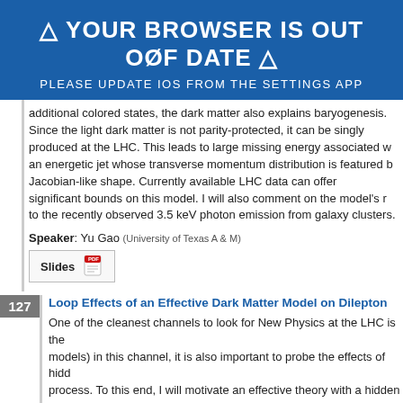⚠ YOUR BROWSER IS OUT OF DATE ⚠
PLEASE UPDATE IOS FROM THE SETTINGS APP
additional colored states, the dark matter also explains baryogenesis. Since the light dark matter is not parity-protected, it can be singly produced at the LHC. This leads to large missing energy associated with an energetic jet whose transverse momentum distribution is featured by a Jacobian-like shape. Currently available LHC data can offer significant bounds on this model. I will also comment on the model's relation to the recently observed 3.5 keV photon emission from galaxy clusters.
Speaker: Yu Gao (University of Texas A & M)
[Figure (other): Slides button with PDF icon]
127 Loop Effects of an Effective Dark Matter Model on Dilepton
One of the cleanest channels to look for New Physics at the LHC is the (models) in this channel, it is also important to probe the effects of hidden process. To this end, I will motivate an effective theory with a hidden sector, our signals on the Drell-Yan process. I will conclude with constraints fr
Nirmal Raj (U)
Typesetting math: 14%